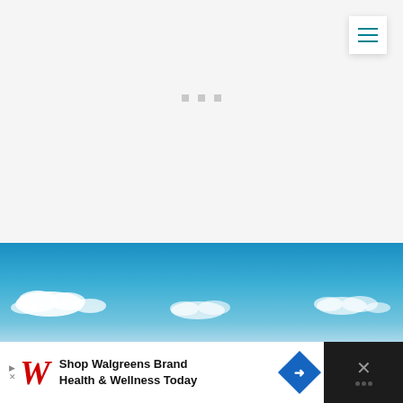[Figure (screenshot): Website loading state with hamburger menu button in top right corner showing teal/cyan horizontal lines, three grey loading dots in center of white/light grey area, transitioning to a blue sky with white clouds photo in the lower portion]
[Figure (photo): Blue sky with white clouds, panoramic view]
Shop Walgreens Brand Health & Wellness Today